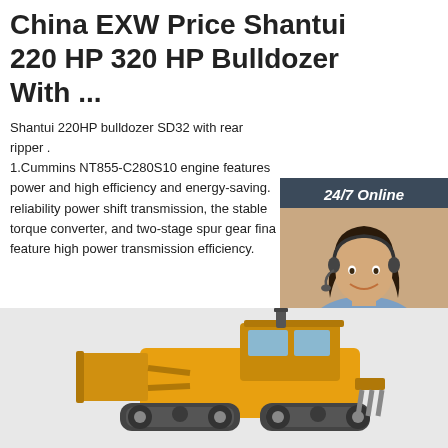China EXW Price Shantui 220 HP 320 HP Bulldozer With ...
Shantui 220HP bulldozer SD32 with rear ripper . 1.Cummins NT855-C280S10 engine features power and high efficiency and energy-saving. reliability power shift transmission, the stable torque converter, and two-stage spur gear fina feature high power transmission efficiency.
[Figure (infographic): 24/7 Online chat widget with woman wearing headset, 'Click here for free chat!' text and QUOTATION orange button]
[Figure (photo): Yellow Shantui bulldozer construction machine, partial view showing front loader and cab]